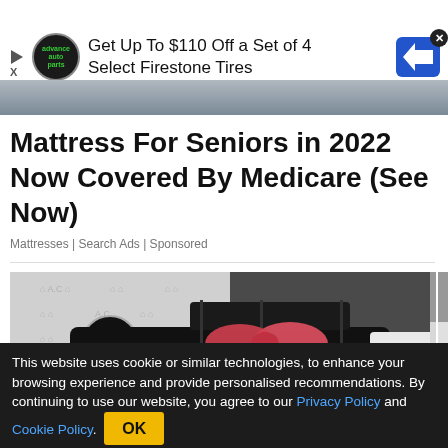[Figure (screenshot): Advertisement banner: Advance Auto Parts logo circle, play button, X button, text 'Get Up To $110 Off a Set of 4 Select Firestone Tires', blue arrow/road sign icon with X close button, and a gray image strip below]
Mattress For Seniors in 2022 Now Covered By Medicare (See Now)
Mattresses | Search Ads | Sponsored
[Figure (photo): Black Jeep Grand Cherokee SUV with a large red/pink bow on the hood, parked inside a car dealership showroom with an A.C. branded backdrop. A white car is visible in the background.]
This website uses cookie or similar technologies, to enhance your browsing experience and provide personalised recommendations. By continuing to use our website, you agree to our Privacy Policy and Cookie Policy.